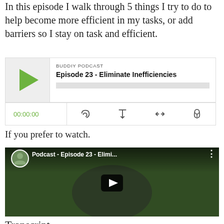In this episode I walk through 5 things I try to do to help become more efficient in my tasks, or add barriers so I stay on task and efficient.
[Figure (screenshot): Podcast player widget for BUDDIY PODCAST Episode 23 - Eliminate Inefficiencies, showing play button, progress bar, time 00:00:00, and control icons]
If you prefer to watch.
[Figure (screenshot): YouTube video thumbnail showing a bearded man speaking at a microphone, with title 'Podcast - Episode 23 - Elimi...' and play button overlay]
Transcript